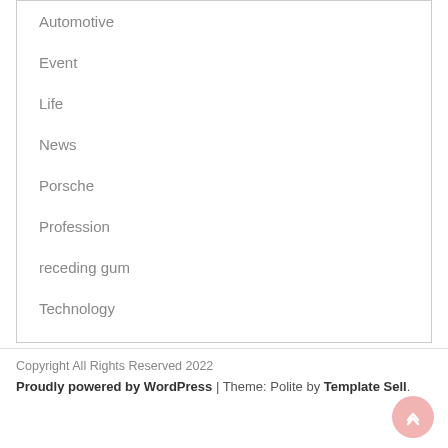Automotive
Event
Life
News
Porsche
Profession
receding gum
Technology
Copyright All Rights Reserved 2022
Proudly powered by WordPress | Theme: Polite by Template Sell.